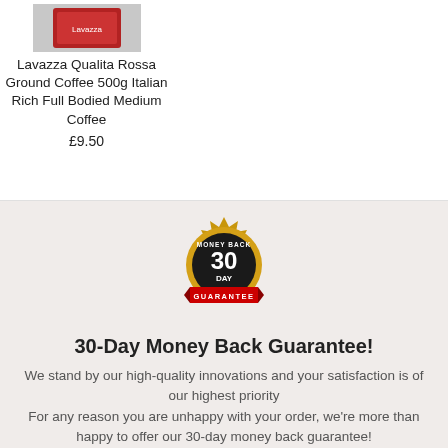[Figure (photo): Product image of Lavazza Qualita Rossa Ground Coffee 500g]
Lavazza Qualita Rossa Ground Coffee 500g Italian Rich Full Bodied Medium Coffee
£9.50
[Figure (illustration): 30-Day Money Back Guarantee badge - gold seal with black center and red ribbon]
30-Day Money Back Guarantee!
We stand by our high-quality innovations and your satisfaction is of our highest priority
For any reason you are unhappy with your order, we're more than happy to offer our 30-day money back guarantee!